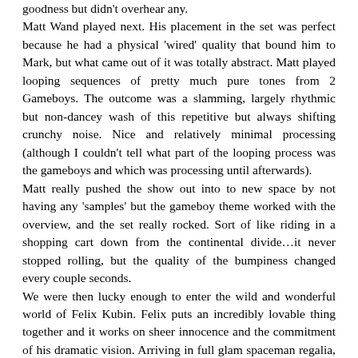goodness but didn't overhear any. Matt Wand played next. His placement in the set was perfect because he had a physical 'wired' quality that bound him to Mark, but what came out of it was totally abstract. Matt played looping sequences of pretty much pure tones from 2 Gameboys. The outcome was a slamming, largely rhythmic but non-dancey wash of this repetitive but always shifting crunchy noise. Nice and relatively minimal processing (although I couldn't tell what part of the looping process was the gameboys and which was processing until afterwards). Matt really pushed the show out into to new space by not having any 'samples' but the gameboy theme worked with the overview, and the set really rocked. Sort of like riding in a shopping cart down from the continental divide...it never stopped rolling, but the quality of the bumpiness changed every couple seconds. We were then lucky enough to enter the wild and wonderful world of Felix Kubin. Felix puts an incredibly lovable thing together and it works on sheer innocence and the commitment of his dramatic vision. Arriving in full glam spaceman regalia, Felix came out and promptly announced that he's not really a plunderphonic artist and proceeded to play a joyful set of